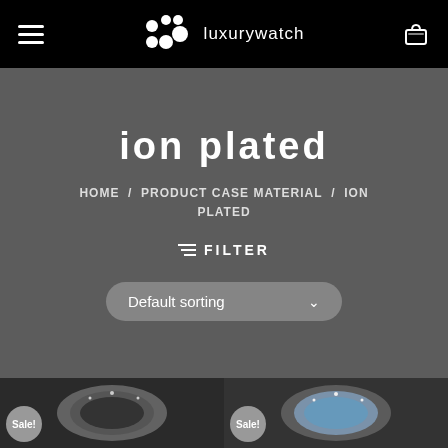luxurywatch — navigation header with hamburger menu and cart icon
ion plated
HOME / PRODUCT CASE MATERIAL / ION PLATED
≡ FILTER
Default sorting
[Figure (photo): Watch product photo on dark background with Sale! badge, left card]
[Figure (photo): Watch product photo on dark background with Sale! badge, right card]